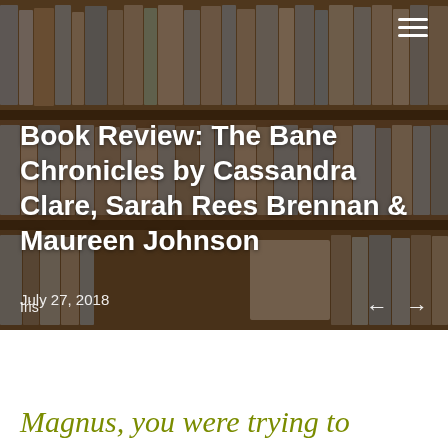[Figure (photo): Blurred photo of a library bookshelf with many colorful books arranged on wooden shelves, serving as the hero background image for a blog post.]
Book Review: The Bane Chronicles by Cassandra Clare, Sarah Rees Brennan & Maureen Johnson
Iris
July 27, 2018
Magnus, you were trying to